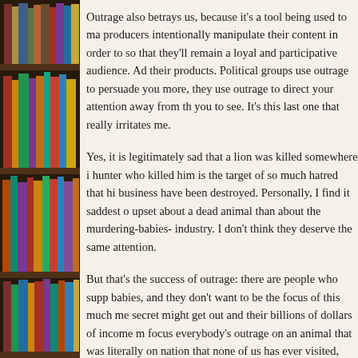[Figure (photo): Bookshelf with colorful books arranged on wooden shelves, serving as a decorative left-side border]
Outrage also betrays us, because it's a tool being used to ma- producers intentionally manipulate their content in order to so that they'll remain a loyal and participative audience. Ad their products. Political groups use outrage to persuade you more, they use outrage to direct your attention away from th- you to see. It's this last one that really irritates me.
Yes, it is legitimately sad that a lion was killed somewhere i- hunter who killed him is the target of so much hatred that hi- business have been destroyed. Personally, I find it saddest o- upset about a dead animal than about the murdering-babies- industry. I don't think they deserve the same attention.
But that's the success of outrage: there are people who supp- babies, and they don't want to be the focus of this much me- secret might get out and their billions of dollars of income m- focus everybody's outrage on an animal that was literally on- nation that none of us has ever visited, and that was hunted local law), and let's get everybody to focus on that dead cat- about our profitable baby-murdering business.